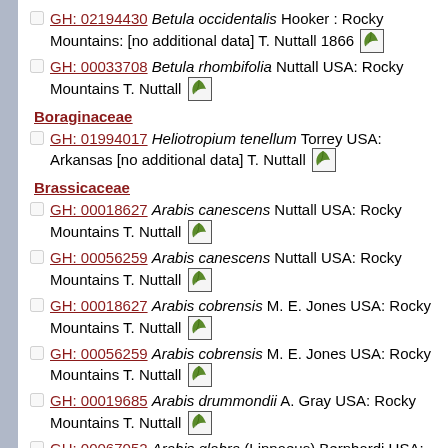GH: 02194430 Betula occidentalis Hooker : Rocky Mountains: [no additional data] T. Nuttall 1866
GH: 00033708 Betula rhombifolia Nuttall USA: Rocky Mountains T. Nuttall
Boraginaceae
GH: 01994017 Heliotropium tenellum Torrey USA: Arkansas [no additional data] T. Nuttall
Brassicaceae
GH: 00018627 Arabis canescens Nuttall USA: Rocky Mountains T. Nuttall
GH: 00056259 Arabis canescens Nuttall USA: Rocky Mountains T. Nuttall
GH: 00018627 Arabis cobrensis M. E. Jones USA: Rocky Mountains T. Nuttall
GH: 00056259 Arabis cobrensis M. E. Jones USA: Rocky Mountains T. Nuttall
GH: 00019685 Arabis drummondii A. Gray USA: Rocky Mountains T. Nuttall
GH: 00067052 Arabis glabra (Linnaeus) Bernhardi USA: